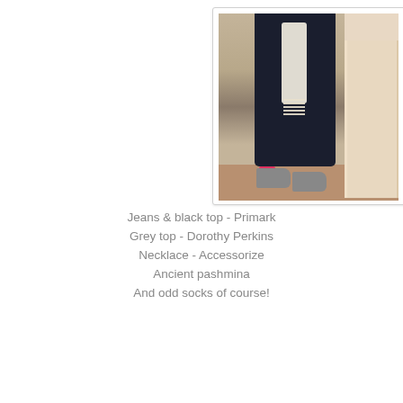[Figure (photo): A person from the neck down wearing dark jeans, a grey top, a cream/white fringe pashmina scarf, and grey shoes with odd socks (one pink visible). They are standing indoors near a white door frame.]
Jeans & black top - Primark
Grey top - Dorothy Perkins
Necklace - Accessorize
Ancient pashmina
And odd socks of course!